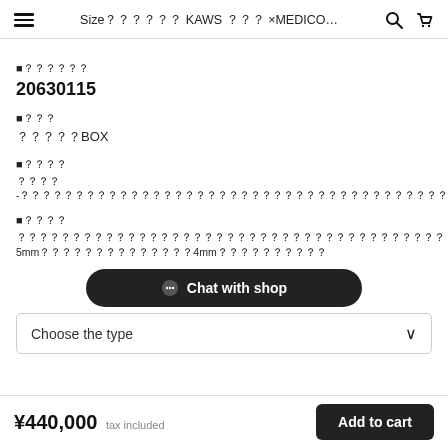Size?????? KAWS ??? ×MEDICO...
■商品番号
20630115
■付属
専用BOX
■状態
未使用-?????????????????????????????????????????????????????????????????
■備考
?????????????????????????????????????????????5mm????????????????4mm??????????
Chat with shop
Choose the type
¥440,000 tax included  Add to cart